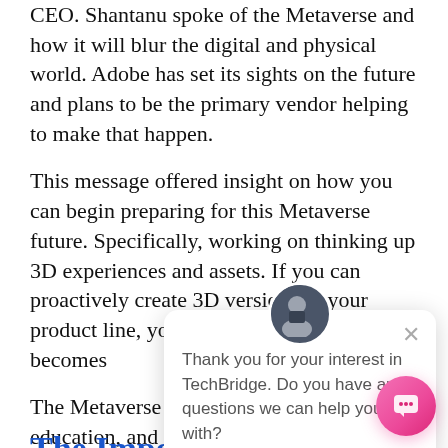CEO. Shantanu spoke of the Metaverse and how it will blur the digital and physical world. Adobe has set its sights on the future and plans to be the primary vendor helping to make that happen.
This message offered insight on how you can begin preparing for this Metaverse future. Specifically, working on thinking up 3D experiences and assets. If you can proactively create 3D versions of your product line, you'll [text obscured] when it becomes [text obscured]
The Metaverse wi[ll be driven] by gaming, education, and remote businesses.
[Figure (screenshot): Chat popup overlay with avatar photo of a man in a suit, close (X) button, and message: 'Thank you for your interest in TechBridge. Do you have any questions we can help you with?' Also shows a pink/magenta circular chat button in the bottom right corner.]
The Importance of